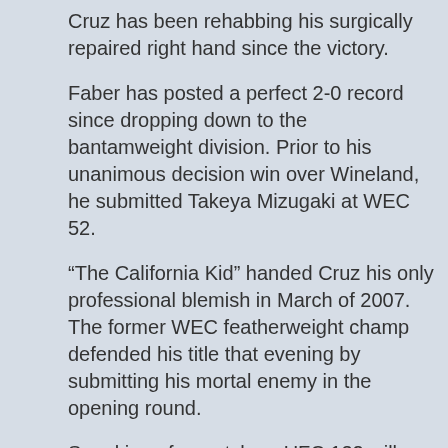Cruz has been rehabbing his surgically repaired right hand since the victory.
Faber has posted a perfect 2-0 record since dropping down to the bantamweight division. Prior to his unanimous decision win over Wineland, he submitted Takeya Mizugaki at WEC 52.
“The California Kid” handed Cruz his only professional blemish in March of 2007. The former WEC featherweight champ defended his title that evening by submitting his mortal enemy in the opening round.
Speaking of rematches, UFC 132 will feature the welterweight mulligan between BJ Penn and Jon Fitch. The pair battled to a controversial draw last month at UFC 127.
The Mandalay Bay Events Center is scheduled to host the show.
Here are the fighters expected to participate in the pay-per-view broadcast: